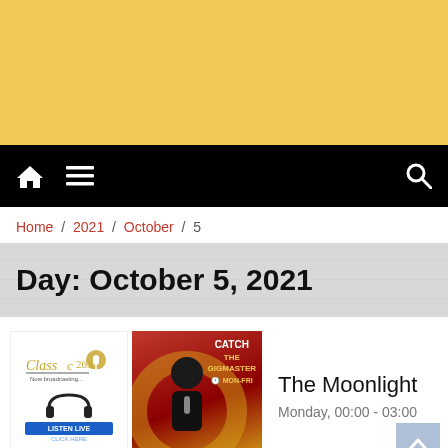[Figure (other): Golden/yellow banner area at top of page]
Navigation bar with home icon, hamburger menu, and search icon
Home / 2021 / October / 5
Day: October 5, 2021
[Figure (photo): Radio station logo (Classic 263 with Listen Live button) and promotional image for The GigMaster show (Catch The GigMaster, Mon-Fri)]
The Moonlight
Monday, 00:00 - 03:00